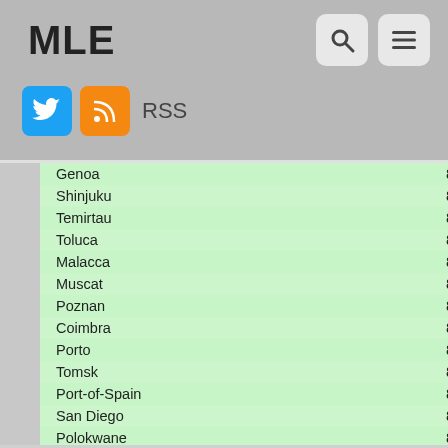MLE
| City | Count |
| --- | --- |
| Genoa | 8 |
| Shinjuku | 8 |
| Temirtau | 8 |
| Toluca | 8 |
| Malacca | 8 |
| Muscat | 8 |
| Poznan | 8 |
| Coimbra | 8 |
| Porto | 8 |
| Tomsk | 8 |
| Port-of-Spain | 8 |
| San Diego | 8 |
| Polokwane | 8 |
| Bergen | 8 |
| Salou | 8 |